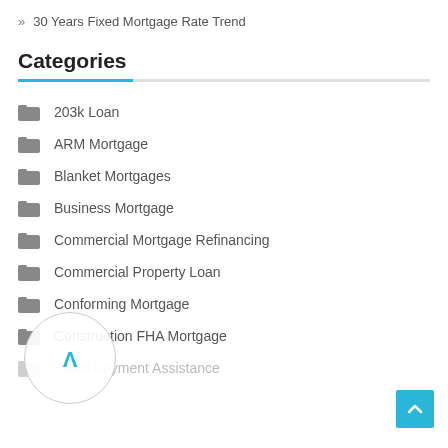30 Years Fixed Mortgage Rate Trend
Categories
203k Loan
ARM Mortgage
Blanket Mortgages
Business Mortgage
Commercial Mortgage Refinancing
Commercial Property Loan
Conforming Mortgage
Construction FHA Mortgage
Down Payment Assistance